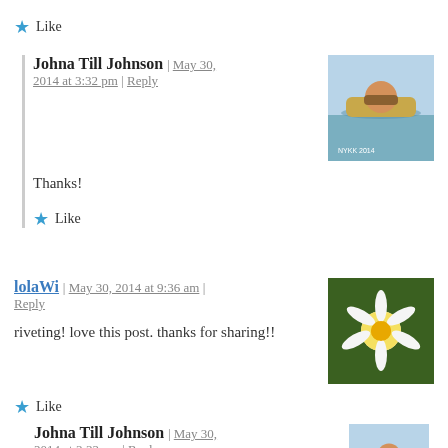★ Like
Johna Till Johnson | May 30, 2014 at 3:32 pm | Reply
Thanks!
★ Like
lolaWi | May 30, 2014 at 9:36 am | Reply
riveting! love this post. thanks for sharing!!
★ Like
Johna Till Johnson | May 30, 2014 at 3:32 pm | Reply
[Figure (photo): Kayaker on water avatar image]
[Figure (photo): Daisy flower avatar image]
[Figure (photo): Kayaker on water avatar image second instance]